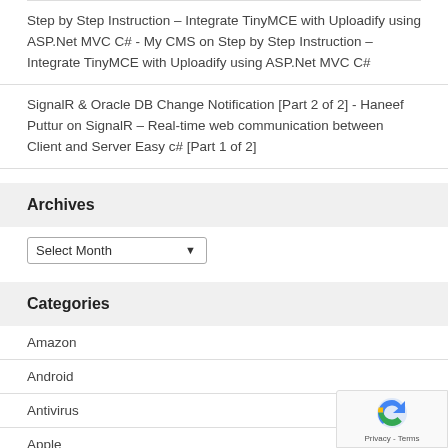Step by Step Instruction – Integrate TinyMCE with Uploadify using ASP.Net MVC C# - My CMS on Step by Step Instruction – Integrate TinyMCE with Uploadify using ASP.Net MVC C#
SignalR & Oracle DB Change Notification [Part 2 of 2] - Haneef Puttur on SignalR – Real-time web communication between Client and Server Easy c# [Part 1 of 2]
Archives
Select Month
Categories
Amazon
Android
Antivirus
Apple